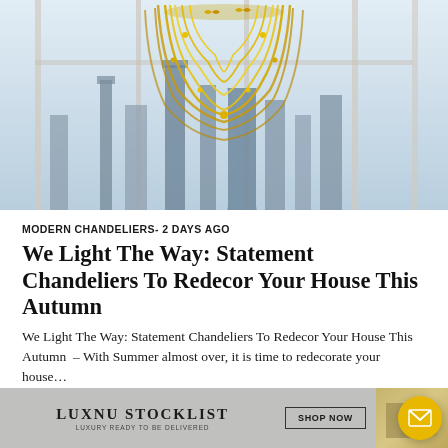[Figure (photo): A gold chain chandelier hanging against a large window with a city skyline in the background, featuring skyscrapers in a hazy blue-grey atmosphere.]
MODERN CHANDELIERS- 2 DAYS AGO
We Light The Way: Statement Chandeliers To Redecor Your House This Autumn
We Light The Way: Statement Chandeliers To Redecor Your House This Autumn  – With Summer almost over, it is time to redecorate your house…
[Figure (screenshot): Comment and share action buttons]
[Figure (logo): LUXNU STOCKLIST advertisement banner with LUXURY READY TO BE DELIVERED tagline and SHOP NOW button, with a decorative interior image on the right and a yellow email button overlay]